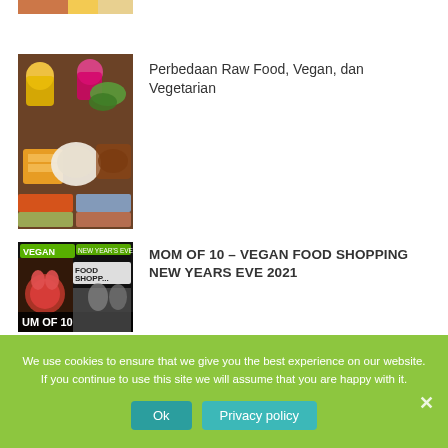[Figure (photo): Partial image of food (bottom part visible) - top article thumbnail]
[Figure (photo): Overhead shot of vegan/raw food ingredients in bowls on a wooden table with mango, cauliflower, greens, and colorful drinks]
Perbedaan Raw Food, Vegan, dan Vegetarian
[Figure (photo): Dark thumbnail image with text VEGAN, NEW YEAR'S EVE, FOOD SHOPPING, UM OF 10 with a person holding a red dragon fruit]
MOM OF 10 – VEGAN FOOD SHOPPING NEW YEARS EVE 2021
We use cookies to ensure that we give you the best experience on our website. If you continue to use this site we will assume that you are happy with it.
Ok
Privacy policy